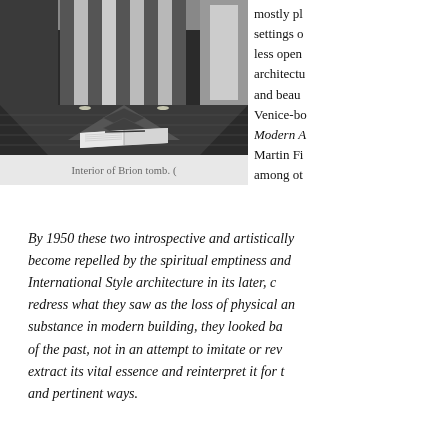[Figure (photo): Black and white interior photograph of the Brion tomb, showing tall stone columns, geometric floor patterns, and an open book resting on the floor with a pen on top, with light streaming through large windows.]
Interior of Brion tomb. (
mostly pl settings o less open architectu and beau Venice-bo Modern A Martin Fi among ot
By 1950 these two introspective and artistically become repelled by the spiritual emptiness and International Style architecture in its later, c redress what they saw as the loss of physical an substance in modern building, they looked ba of the past, not in an attempt to imitate or rev extract its vital essence and reinterpret it for t and pertinent ways.